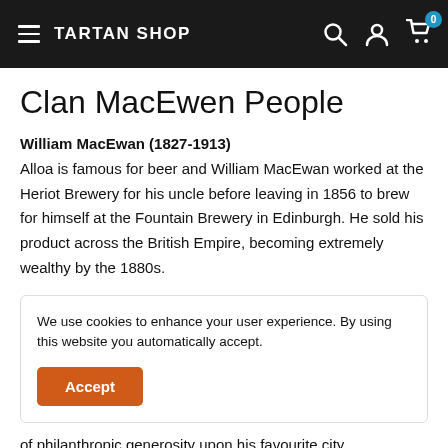TARTAN SHOP
Clan MacEwen People
William MacEwan (1827-1913)
Alloa is famous for beer and William MacEwan worked at the Heriot Brewery for his uncle before leaving in 1856 to brew for himself at the Fountain Brewery in Edinburgh. He sold his product across the British Empire, becoming extremely wealthy by the 1880s.
We use cookies to enhance your user experience. By using this website you automatically accept.
of philanthropic generosity upon his favourite city